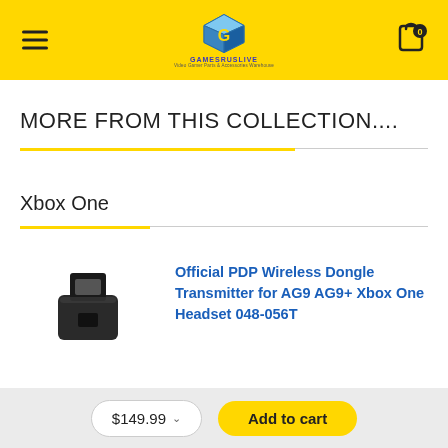[Figure (logo): GamesRUsLive logo — yellow cube with letter G, text GAMESRUSLIVE in blue, subtitle Video Gamer Parts & Accessories Warehouse]
MORE FROM THIS COLLECTION....
Xbox One
[Figure (photo): Small black USB wireless dongle transmitter product photo]
Official PDP Wireless Dongle Transmitter for AG9 AG9+ Xbox One Headset 048-056T
$149.99
Add to cart